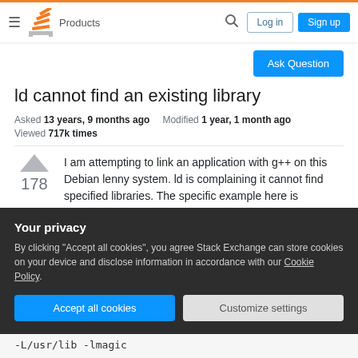Stack Overflow — Products | Log in | Sign up
Ask Question
ld cannot find an existing library
Asked 13 years, 9 months ago   Modified 1 year, 1 month ago   Viewed 717k times
I am attempting to link an application with g++ on this Debian lenny system. ld is complaining it cannot find specified libraries. The specific example here is
Your privacy
By clicking "Accept all cookies", you agree Stack Exchange can store cookies on your device and disclose information in accordance with our Cookie Policy.
Accept all cookies   Customize settings
-L/usr/lib -lmagic